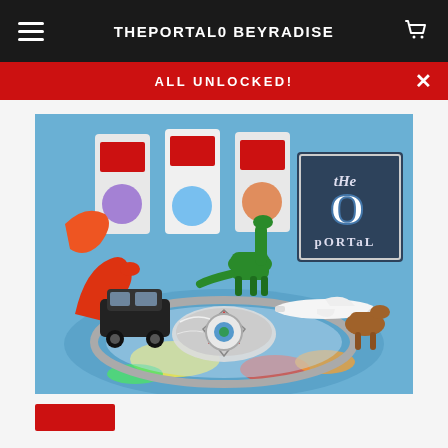THEPORTAL0 BEYRADISE
ALL UNLOCKED!
[Figure (photo): Product photo showing a Beyblade spinning top toy on a colorful arena/track, surrounded by toy dinosaurs, a toy car, a toy airplane, and Beyblade product packaging boxes in the background. A logo reading 'THE O PORTAL' appears in the upper right corner of the image.]